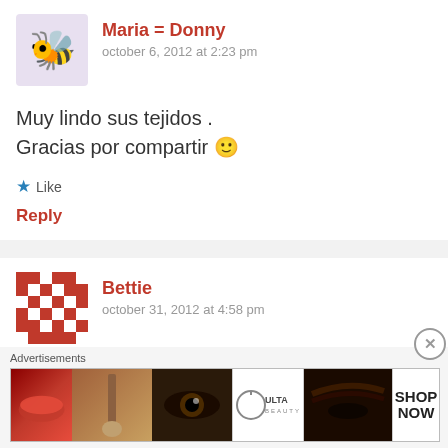[Figure (illustration): Bee cartoon avatar for user Maria = Donny]
Maria = Donny
october 6, 2012 at 2:23 pm
Muy lindo sus tejidos .
Gracias por compartir 🙂
★ Like
Reply
[Figure (illustration): Red and white pixel/mosaic pattern avatar for user Bettie]
Bettie
october 31, 2012 at 4:58 pm
Advertisements
[Figure (other): ULTA beauty advertisement banner with makeup imagery and SHOP NOW text]